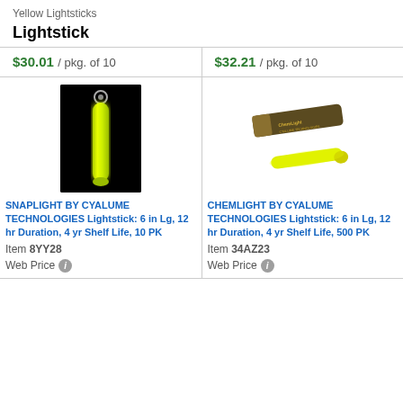Yellow Lightsticks
Lightstick
| Price Col 1 | Price Col 2 |
| --- | --- |
| $30.01 / pkg. of 10 | $32.21 / pkg. of 10 |
[Figure (photo): Glowing yellow lightstick on black background]
[Figure (photo): ChemLight by Cyalume Technologies lightstick in packaging with a yellow glowing stick below]
SNAPLIGHT BY CYALUME TECHNOLOGIES Lightstick: 6 in Lg, 12 hr Duration, 4 yr Shelf Life, 10 PK
CHEMLIGHT BY CYALUME TECHNOLOGIES Lightstick: 6 in Lg, 12 hr Duration, 4 yr Shelf Life, 500 PK
Item 8YY28
Item 34AZ23
Web Price
Web Price